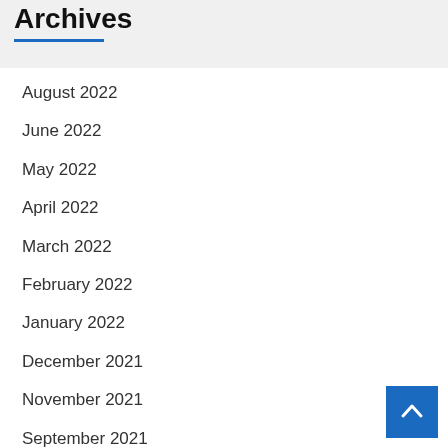Archives
August 2022
June 2022
May 2022
April 2022
March 2022
February 2022
January 2022
December 2021
November 2021
September 2021
August 2021
March 2021